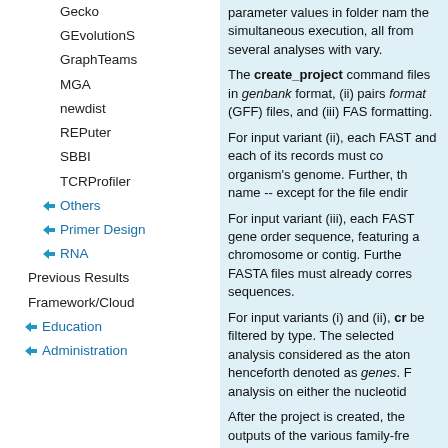Gecko
GEvolutionS
GraphTeams
MGA
newdist
REPuter
SBBI
TCRProfiler
Others
Primer Design
RNA
Previous Results
Framework/Cloud
Education
Administration
parameter values in folder name the simultaneous execution, all from several analyses with vary.
The create_project command files in genbank format, (ii) pairs format (GFF) files, and (iii) FAS formatting.
For input variant (ii), each FAST and each of its records must co organism's genome. Further, th name -- except for the file endir
For input variant (iii), each FAST gene order sequence, featuring a chromosome or contig. Furthe FASTA files must already corres sequences.
For input variants (i) and (ii), cr be filtered by type. The selected analysis considered as the aton henceforth denoted as genes. F analysis on either the nucleotid
After the project is created, the outputs of the various family-fre workflow management system s of individual family-free analyse